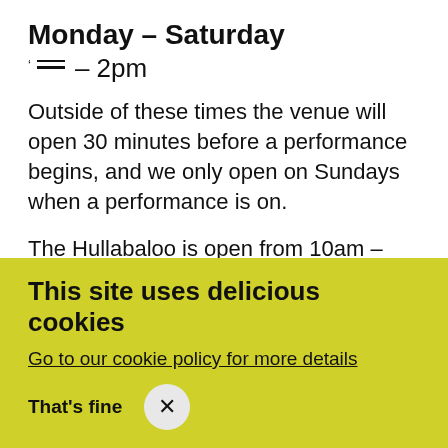Monday – Saturday
☰ – 2pm
Outside of these times the venue will open 30 minutes before a performance begins, and we only open on Sundays when a performance is on.
The Hullabaloo is open from 10am – 2pm, Monday – Saturday where you can enjoy coffee and cake at Café Hullabaloo and some play time too.
This site uses delicious cookies
Go to our cookie policy for more details
That's fine  ×